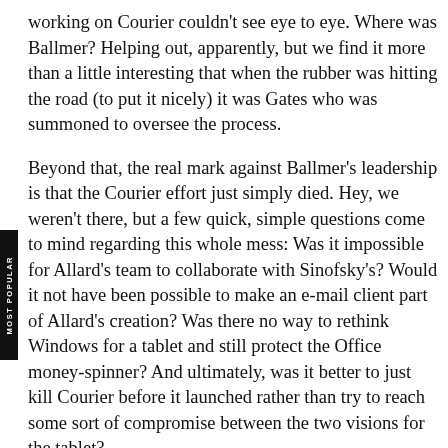working on Courier couldn't see eye to eye. Where was Ballmer? Helping out, apparently, but we find it more than a little interesting that when the rubber was hitting the road (to put it nicely) it was Gates who was summoned to oversee the process.
Beyond that, the real mark against Ballmer's leadership is that the Courier effort just simply died. Hey, we weren't there, but a few quick, simple questions come to mind regarding this whole mess: Was it impossible for Allard's team to collaborate with Sinofsky's? Would it not have been possible to make an e-mail client part of Allard's creation? Was there no way to rethink Windows for a tablet and still protect the Office money-spinner? And ultimately, was it better to just kill Courier before it launched rather than try to reach some sort of compromise between the two visions for the tablet?
Hard to answer one way or another with different views...